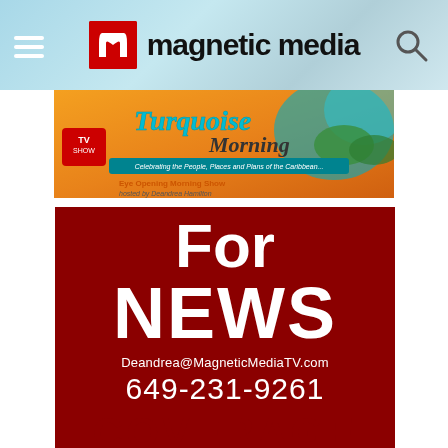magnetic media
[Figure (photo): Turquoise Morning TV Show promotional banner — colorful Caribbean-themed image with script text 'Turquoise Morning', tagline 'Celebrating the People, Places and Plans of the Caribbean...', 'Eye Opening Morning Show hosted by Deandrea Hamilton']
[Figure (infographic): Dark red promotional banner reading 'For NEWS Deandrea@MagneticMediaTV.com 649-231-9261 COVERAGE' in white text on dark red background]